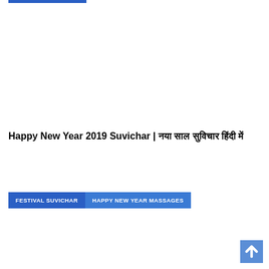Happy New Year 2019 Suvichar | नया साल सुविचार हिंदी में
FESTIVAL SUVICHAR   HAPPY NEW YEAR MASSAGES